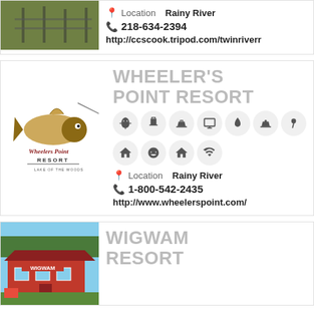Location Rainy River
218-634-2394
http://ccscook.tripod.com/twinriverr
[Figure (logo): Wheeler's Point Resort logo with fish illustration]
WHEELER'S POINT RESORT
[Figure (infographic): Row of amenity icons: snowflake, beer mug, boat, monitor, flame, boat, microphone, house, paw, house, wifi]
Location Rainy River
1-800-542-2435
http://www.wheelerspoint.com/
[Figure (photo): Wigwam Resort exterior photo showing red building with sign]
WIGWAM RESORT